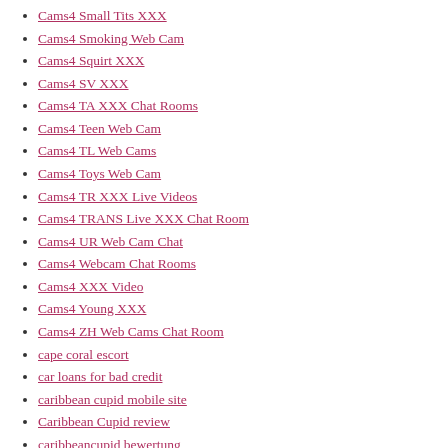Cams4 Small Tits Web Cam
Cams4 Small Tits XXX
Cams4 Smoking Web Cam
Cams4 Squirt XXX
Cams4 SV XXX
Cams4 TA XXX Chat Rooms
Cams4 Teen Web Cam
Cams4 TL Web Cams
Cams4 Toys Web Cam
Cams4 TR XXX Live Videos
Cams4 TRANS Live XXX Chat Room
Cams4 UR Web Cam Chat
Cams4 Webcam Chat Rooms
Cams4 XXX Video
Cams4 Young XXX
Cams4 ZH Web Cams Chat Room
cape coral escort
car loans for bad credit
caribbean cupid mobile site
Caribbean Cupid review
caribbeancupid bewertung
caribbeancupid review
caribbeancupid reviews
carrollton escort index
cash advance title loans